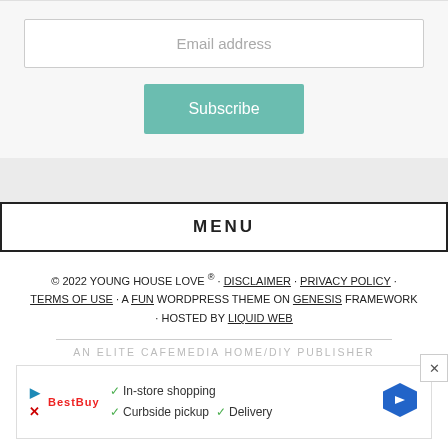Email address
Subscribe
MENU
© 2022 YOUNG HOUSE LOVE ® · DISCLAIMER · PRIVACY POLICY · TERMS OF USE · A FUN WORDPRESS THEME ON GENESIS FRAMEWORK · HOSTED BY LIQUID WEB
AN ELITE CAFEMEDIA HOME/DIY PUBLISHER
[Figure (screenshot): Advertisement banner showing In-store shopping, Curbside pickup, Delivery with a blue hexagonal arrow icon]